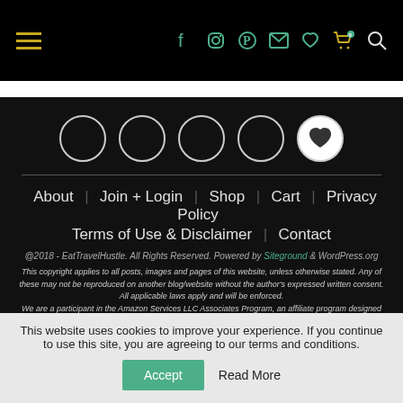Navigation bar with hamburger menu and social icons (Facebook, Instagram, Pinterest, Email, Wishlist, Cart, Search)
[Figure (illustration): Five circles in a row, the last one filled white with a heart icon, on black background]
About  Join + Login  Shop  Cart  Privacy Policy  Terms of Use & Disclaimer  Contact
@2018 - EatTravelHustle. All Rights Reserved. Powered by Siteground & WordPress.org
This copyright applies to all posts, images and pages of this website, unless otherwise stated. Any of these may not be reproduced on another blog/website without the author's expressed written consent. All applicable laws apply and will be enforced. We are a participant in the Amazon Services LLC Associates Program, an affiliate program designed to provide a means for...
This website uses cookies to improve your experience. If you continue to use this site, you are agreeing to our terms and conditions.